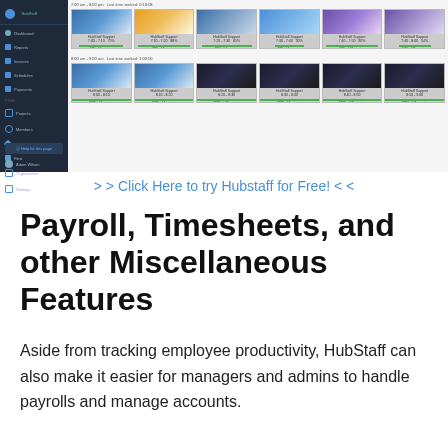[Figure (screenshot): Screenshot of HubStaff application interface showing a dark sidebar navigation on the left and a grid of thumbnail screenshots in the main content area, arranged in two rows of six thumbnails each, showing employee activity recordings labeled 'HubStaff Support']
>> Click Here to try Hubstaff for Free! <<
Payroll, Timesheets, and other Miscellaneous Features
Aside from tracking employee productivity, HubStaff can also make it easier for managers and admins to handle payrolls and manage accounts.